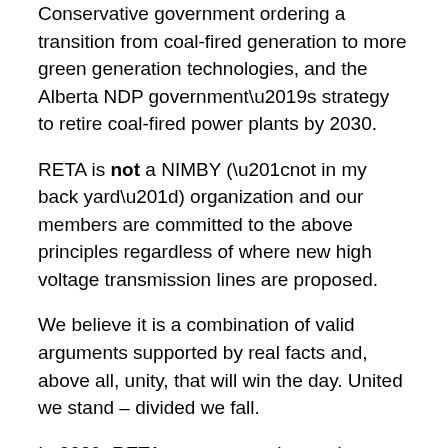Conservative government ordering a transition from coal-fired generation to more green generation technologies, and the Alberta NDP government's strategy to retire coal-fired power plants by 2030.
RETA is not a NIMBY (“not in my back yard”) organization and our members are committed to the above principles regardless of where new high voltage transmission lines are proposed.
We believe it is a combination of valid arguments supported by real facts and, above all, unity, that will win the day. United we stand – divided we fall.
In 2009, RETA was accepted as a signatory to the Porto Alegre Resolution signed in follow up to the “International Workshop on Non-Ionizing Radiation, Health and Environment”, held in May 2009 in Porto Alegre, Brazil.